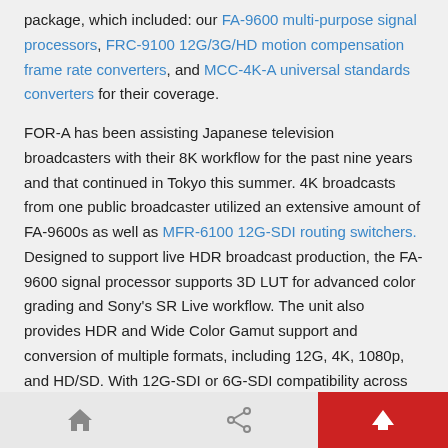package, which included: our FA-9600 multi-purpose signal processors, FRC-9100 12G/3G/HD motion compensation frame rate converters, and MCC-4K-A universal standards converters for their coverage.
FOR-A has been assisting Japanese television broadcasters with their 8K workflow for the past nine years and that continued in Tokyo this summer. 4K broadcasts from one public broadcaster utilized an extensive amount of FA-9600s as well as MFR-6100 12G-SDI routing switchers. Designed to support live HDR broadcast production, the FA-9600 signal processor supports 3D LUT for advanced color grading and Sony's SR Live workflow. The unit also provides HDR and Wide Color Gamut support and conversion of multiple formats, including 12G, 4K, 1080p, and HD/SD. With 12G-SDI or 6G-SDI compatibility across all inputs and outputs, the MFR-6100 supplies powerful support
home | share | up